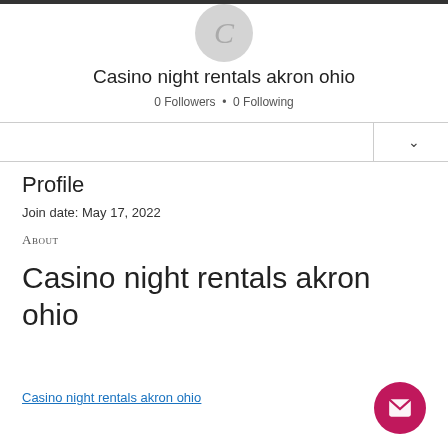[Figure (illustration): Circular avatar placeholder with letter C on grey background]
Casino night rentals akron ohio
0 Followers • 0 Following
Profile
Join date: May 17, 2022
About
Casino night rentals akron ohio
Casino night rentals akron ohio